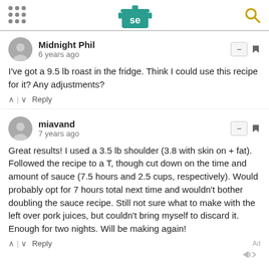Serious Eats header with logo and search icon
Midnight Phil
6 years ago
I've got a 9.5 lb roast in the fridge. Think I could use this recipe for it? Any adjustments?
miavand
7 years ago
Great results! I used a 3.5 lb shoulder (3.8 with skin on + fat). Followed the recipe to a T, though cut down on the time and amount of sauce (7.5 hours and 2.5 cups, respectively). Would probably opt for 7 hours total next time and wouldn't bother doubling the sauce recipe. Still not sure what to make with the left over pork juices, but couldn't bring myself to discard it. Enough for two nights. Will be making again!